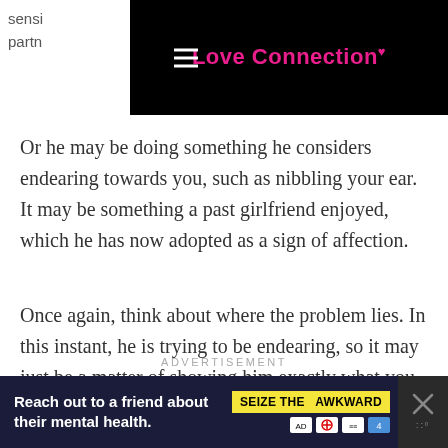Love Connection
Or he may be doing something he considers endearing towards you, such as nibbling your ear. It may be something a past girlfriend enjoyed, which he has now adopted as a sign of affection.
Once again, think about where the problem lies. In this instant, he is trying to be endearing, so it may just be a matter of showing him exactly what you do want and how he can show it.
ADVERTISEMENT
[Figure (other): Advertisement banner: Reach out to a friend about their mental health. Seize The Awkward campaign.]